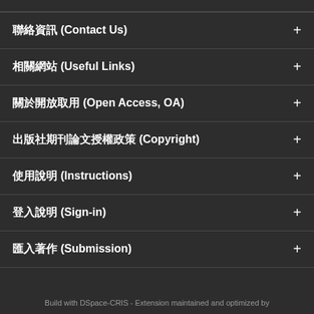聯絡資訊 (Contact Us) +
相關網站 (Useful Links) +
關於開放取用 (Open Access, OA) +
出版社期刊論文授權政策 (Copyright) +
使用說明 (Instructions) +
登入說明 (Sign-in) +
匯入著作 (Submission) +
Build with DSpace-CRIS - Extension maintained and optimized by